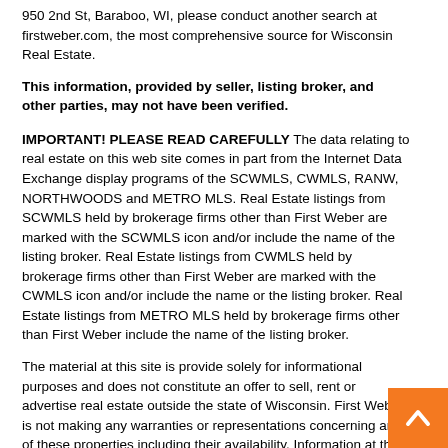950 2nd St, Baraboo, WI, please conduct another search at firstweber.com, the most comprehensive source for Wisconsin Real Estate.
This information, provided by seller, listing broker, and other parties, may not have been verified.
IMPORTANT! PLEASE READ CAREFULLY The data relating to real estate on this web site comes in part from the Internet Data Exchange display programs of the SCWMLS, CWMLS, RANW, NORTHWOODS and METRO MLS. Real Estate listings from SCWMLS held by brokerage firms other than First Weber are marked with the SCWMLS icon and/or include the name of the listing broker. Real Estate listings from CWMLS held by brokerage firms other than First Weber are marked with the CWMLS icon and/or include the name or the listing broker. Real Estate listings from METRO MLS held by brokerage firms other than First Weber include the name of the listing broker.
The material at this site is provide solely for informational purposes and does not constitute an offer to sell, rent or advertise real estate outside the state of Wisconsin. First Weber is not making any warranties or representations concerning any of these properties including their availability. Information at this site is deemed reliable but not guaranteed. All property search information, whether by criteria or by map search, is provided as a guide only and may include discrepancies. First Weber shall not be held responsible for any discrepancy and/o